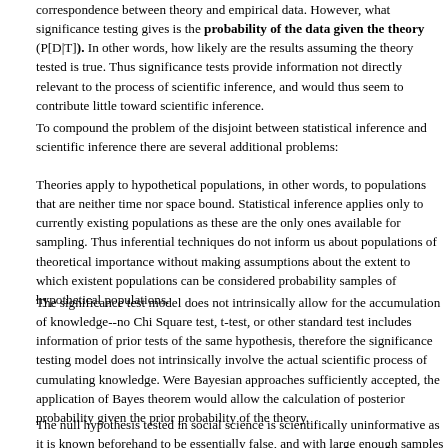correspondence between theory and empirical data. However, what significance testing gives is the probability of the data given the theory (P[D|T]). In other words, how likely are the results assuming the theory tested is true. Thus significance tests provide information not directly relevant to the process of scientific inference, and would thus seem to contribute little toward scientific inference.
To compound the problem of the disjoint between statistical inference and scientific inference there are several additional problems:
Theories apply to hypothetical populations, in other words, to populations that are neither time nor space bound. Statistical inference applies only to currently existing populations as these are the only ones available for sampling. Thus inferential techniques do not inform us about populations of theoretical importance without making assumptions about the extent to which existent populations can be considered probability samples of hypothetical populations.
The significance test model does not intrinsically allow for the accumulation of knowledge--no Chi Square test, t-test, or other standard test includes information of prior tests of the same hypothesis, therefore the significance testing model does not intrinsically involve the actual scientific process of cumulating knowledge. Were Bayesian approaches sufficiently accepted, the application of Bayes theorem would allow the calculation of posterior probability given the prior probability of the theory.
The null hypothesis tested in social science is scientifically uninformative as it is known beforehand to be essentially false, and with large enough samples one can usually r